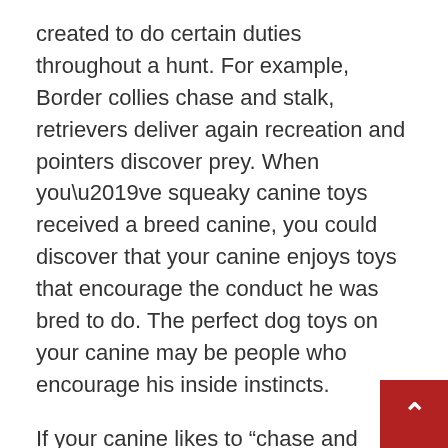created to do certain duties throughout a hunt. For example, Border collies chase and stalk, retrievers deliver again recreation and pointers discover prey. When you’ve squeaky canine toys received a breed canine, you could discover that your canine enjoys toys that encourage the conduct he was bred to do. The perfect dog toys on your canine may be people who encourage his inside instincts.
If your canine likes to “chase and chew” his toys the JW Pet Company Giggler Ball may just be the toy for him! The Giggler Ball makes its humorous “giggling” noise when your canine shakes or squeezes the ball. Many clients report that this ball is also fairly sturdy, so these power chewers in the house will have a tricky time destroying it. And if your dog finds a approach to tear the ball, you don’t have to fret